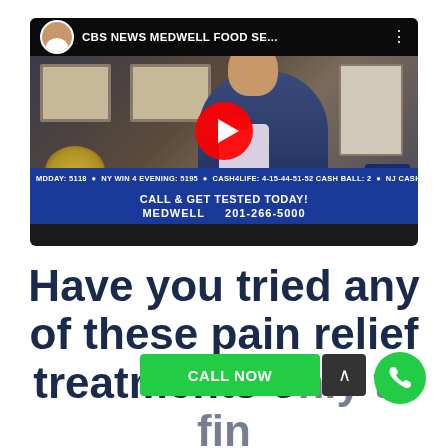[Figure (screenshot): YouTube video thumbnail showing a CBS News segment titled 'CBS NEWS MEDWELL FOOD SE...' featuring a doctor in a navy suit and bow tie seated in front of framed certificates. The video has a play button overlay. Below the video is a news ticker bar reading 'MDDAY: 5118 | NY WIN 4 EVENING: 5195 | CASH4LIFE: 4-15-44-51-52 CASH BALL: 2 | NJ CASH' and a blue call-to-action banner reading 'CALL & GET TESTED TODAY! MEDWELL 201-266-5000'.]
Have you tried any of these pain relief treatments only to find they never worked?